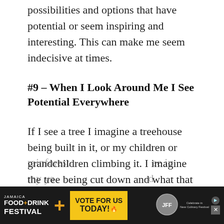possibilities and options that have potential or seem inspiring and interesting. This can make me seem indecisive at times.
#9 – When I Look Around Me I See Potential Everywhere
If I see a tree I imagine a treehouse being built in it, or my children or grandchildren climbing it. I imagine the tree being cut down and what that would mean for the environment. I start thinking about the environment and the rainforest and the impact it has on all our lives, and then I start thinking of ways to protect the rainforest… [ad overlaps] …ee in my ya…
[Figure (other): Advertisement banner for Jamaica Food+Drink Festival with 'Vote For Us Today!' call to action in yellow box, dark background, circular logo on right, AdChoices and close button.]